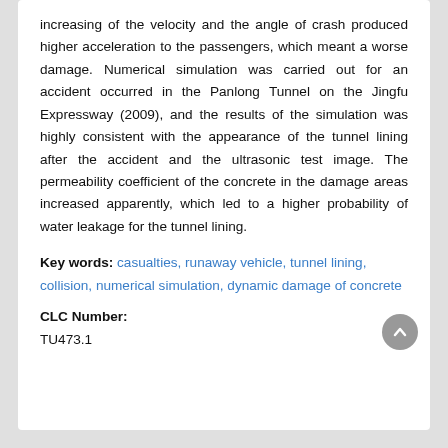increasing of the velocity and the angle of crash produced higher acceleration to the passengers, which meant a worse damage. Numerical simulation was carried out for an accident occurred in the Panlong Tunnel on the Jingfu Expressway (2009), and the results of the simulation was highly consistent with the appearance of the tunnel lining after the accident and the ultrasonic test image. The permeability coefficient of the concrete in the damage areas increased apparently, which led to a higher probability of water leakage for the tunnel lining.
Key words: casualties, runaway vehicle, tunnel lining, collision, numerical simulation, dynamic damage of concrete
CLC Number:
TU473.1